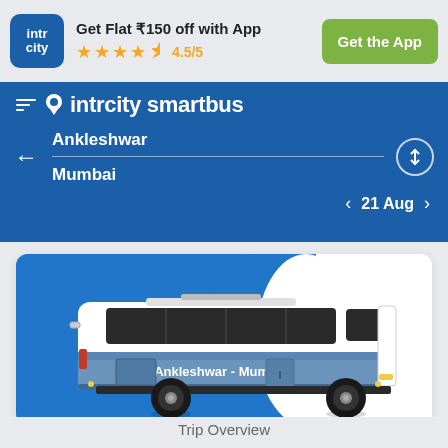Get Flat ₹150 off with App
★★★★½ 4.5/5
Get the App
intrcity smartbus
Ankleshwar
Mumbai
21 Aug
[Figure (illustration): Illustration of a blue and white intercity bus with text 'Ankleshwar - Mumbai' on its side, set against a blue background on a white card.]
Trip Overview